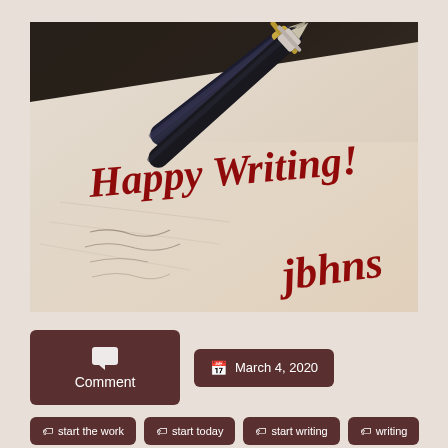[Figure (photo): Photo of a fountain pen resting on handwritten paper/notebook with 'Happy Writing!' in dark red cursive script and 'jbhns' in dark red cursive at the bottom right]
Comment
March 4, 2020
start the work
start today
start writing
writing